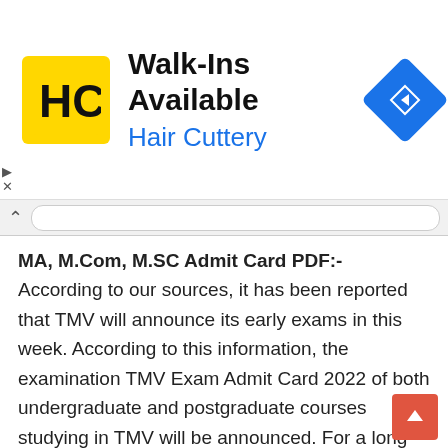[Figure (logo): Hair Cuttery advertisement banner with HC logo, 'Walk-Ins Available' headline, 'Hair Cuttery' subheadline in blue, and a blue navigation diamond icon on the right]
MA, M.Com, M.SC Admit Card PDF:- According to our sources, it has been reported that TMV will announce its early exams in this week. According to this information, the examination TMV Exam Admit Card 2022 of both undergraduate and postgraduate courses studying in TMV will be announced. For a long time, students were waiting for their TMV Exam Admit Card 2022. With the announcement made by TMV, their wait is about to end. Students will have to prepare rigorously for the TMV Exams 2022 to get good marks in their exams.
How to Download TMV Admit Card 2022 PDF